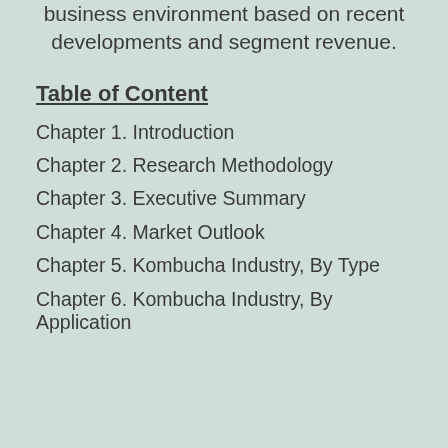business environment based on recent developments and segment revenue.
Table of Content
Chapter 1. Introduction
Chapter 2. Research Methodology
Chapter 3. Executive Summary
Chapter 4. Market Outlook
Chapter 5. Kombucha Industry, By Type
Chapter 6. Kombucha Industry, By Application